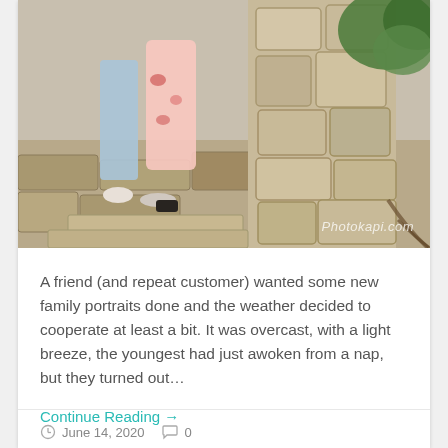[Figure (photo): Outdoor family photo showing people standing on stone steps next to a stone pillar/column. Women wearing floral and blue dresses, partial view of legs and lower bodies. Stone wall and greenery in background. Watermark reads Photokapi.com]
A friend (and repeat customer) wanted some new family portraits done and the weather decided to cooperate at least a bit. It was overcast, with a light breeze, the youngest had just awoken from a nap, but they turned out…
Continue Reading →
June 14, 2020   0